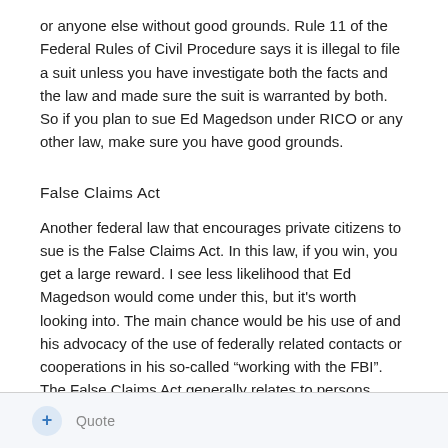or anyone else without good grounds. Rule 11 of the Federal Rules of Civil Procedure says it is illegal to file a suit unless you have investigate both the facts and the law and made sure the suit is warranted by both. So if you plan to sue Ed Magedson under RICO or any other law, make sure you have good grounds.
False Claims Act
Another federal law that encourages private citizens to sue is the False Claims Act. In this law, if you win, you get a large reward. I see less likelihood that Ed Magedson would come under this, but it's worth looking into. The main chance would be his use of and his advocacy of the use of federally related contacts or cooperations in his so-called “working with the FBI”. The False Claims Act generally relates to persons getting money from the federal government improperly — or not paying the federal government as much as they were supposed to
+ Quote